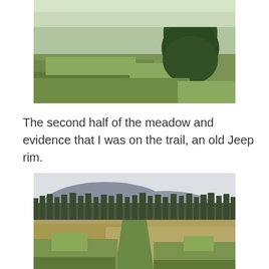[Figure (photo): Photograph of a meadow with green grass and a tall evergreen tree on the right side, cropped at the top.]
The second half of the meadow and evidence that I was on the trail, an old Jeep rim.
[Figure (photo): Photograph of a wide open meadow with a green trail path visible, surrounded by pine trees and a hill in the background under an overcast sky.]